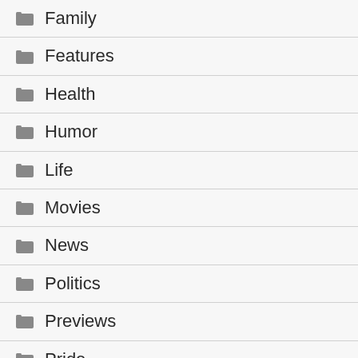Family
Features
Health
Humor
Life
Movies
News
Politics
Previews
Pride